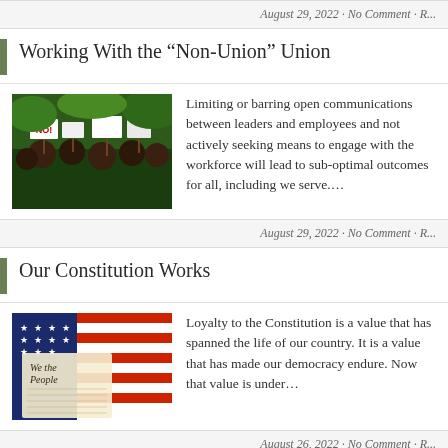August 29, 2022 · No Comment · R...
Working With the “Non-Union” Union
[Figure (photo): Protest crowd holding signs, one visible sign reads 'NO!']
Limiting or barring open communications between leaders and employees and not actively seeking means to engage with the workforce will lead to sub-optimal outcomes for all, including we serve....
August 29, 2022 · No Comment · R...
Our Constitution Works
[Figure (photo): American flag draped over the US Constitution document showing 'We the People']
Loyalty to the Constitution is a value that has spanned the life of our country. It is a value that has made our democracy endure. Now that value is under…
August 26, 2022 · No Comment · R...
Revisiting Student Loans